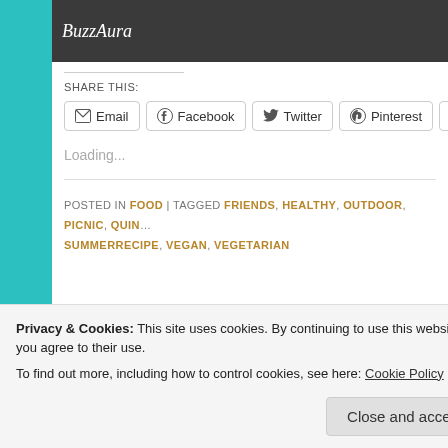BuzzAura
SHARE THIS:
Email | Facebook | Twitter | Pinterest | Tumbl...
Loading...
POSTED IN FOOD | TAGGED FRIENDS, HEALTHY, OUTDOOR, PICNIC, QUIN... SUMMERRECIPE, VEGAN, VEGETARIAN
Privacy & Cookies: This site uses cookies. By continuing to use this website, you agree to their use.
To find out more, including how to control cookies, see here: Cookie Policy
Close and accept